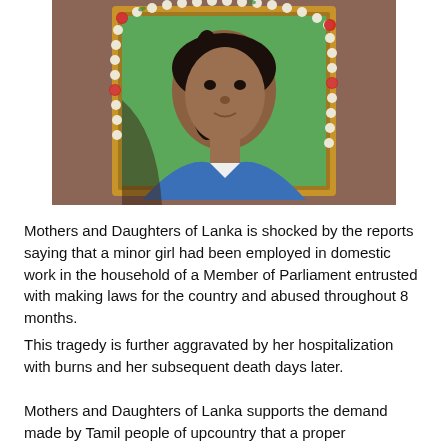[Figure (photo): A framed portrait photograph of a young woman with dark hair pulled back, wearing a blue top. The frame is decorated with a white flower garland with red accents. The background inside the frame is green. The setting suggests a memorial photograph.]
Mothers and Daughters of Lanka is shocked by the reports saying that a minor girl had been employed in domestic work in the household of a Member of Parliament entrusted with making laws for the country and abused throughout 8 months.
This tragedy is further aggravated by her hospitalization with burns and her subsequent death days later.
Mothers and Daughters of Lanka supports the demand made by Tamil people of upcountry that a proper investigation be